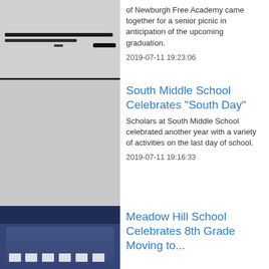of Newburgh Free Academy came together for a senior picnic in anticipation of the upcoming graduation.
2019-07-11 19:23:06
South Middle School Celebrates "South Day"
Scholars at South Middle School celebrated another year with a variety of activities on the last day of school.
2019-07-11 19:16:33
[Figure (photo): Group photo with horizontal dark bars, likely a blurred or redacted image from a school event]
Meadow Hill School Celebrates 8th Grade Moving to...
[Figure (photo): Group of students holding certificates on a stage with a dark blue curtain background]